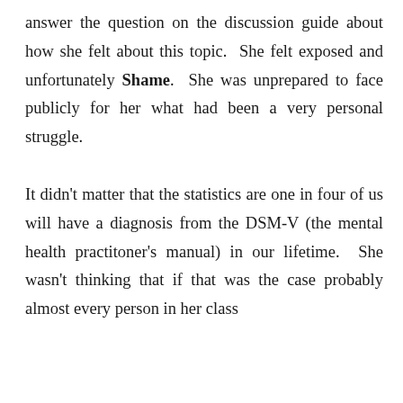answer the question on the discussion guide about how she felt about this topic. She felt exposed and unfortunately Shame. She was unprepared to face publicly for her what had been a very personal struggle.

It didn't matter that the statistics are one in four of us will have a diagnosis from the DSM-V (the mental health practitoner's manual) in our lifetime. She wasn't thinking that if that was the case probably almost every person in her class